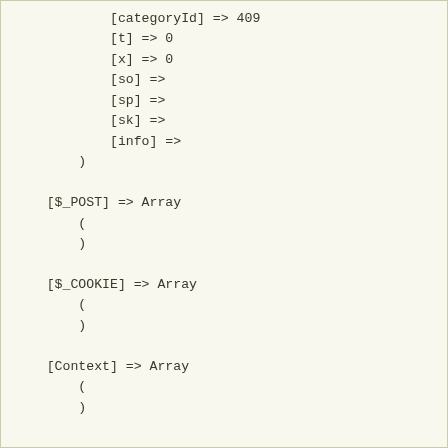[categoryId] => 409
            [t] => 0
            [x] => 0
            [so] =>
            [sp] =>
            [sk] =>
            [info] =>
        )

    [$_POST] => Array
        (
        )

    [$_COOKIE] => Array
        (
        )

    [Context] => Array
        (
        )